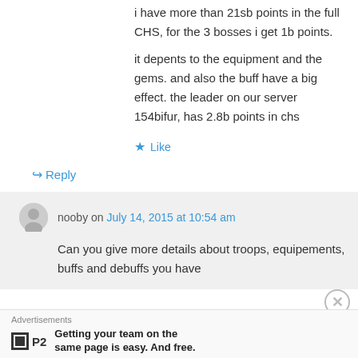i have more than 21sb points in the full CHS, for the 3 bosses i get 1b points.
it depents to the equipment and the gems. and also the buff have a big effect. the leader on our server 154bifur, has 2.8b points in chs
Like
Reply
nooby on July 14, 2015 at 10:54 am
Can you give more details about troops, equipements, buffs and debuffs you have
Advertisements
Getting your team on the same page is easy. And free.